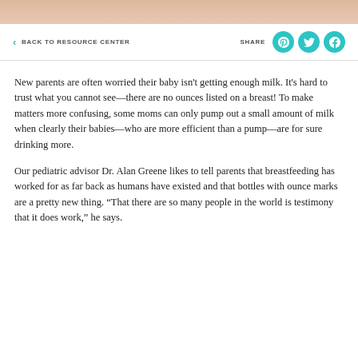[Figure (photo): Top portion of a photo showing a baby or infant, skin-toned background]
< BACK TO RESOURCE CENTER    SHARE
New parents are often worried their baby isn't getting enough milk. It's hard to trust what you cannot see—there are no ounces listed on a breast! To make matters more confusing, some moms can only pump out a small amount of milk when clearly their babies—who are more efficient than a pump—are for sure drinking more.
Our pediatric advisor Dr. Alan Greene likes to tell parents that breastfeeding has worked for as far back as humans have existed and that bottles with ounce marks are a pretty new thing. “That there are so many people in the world is testimony that it does work,” he says.